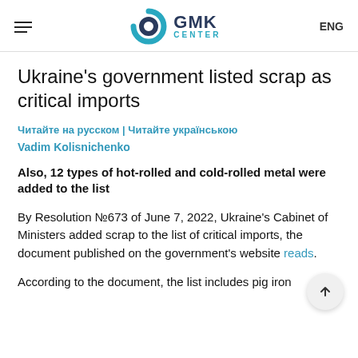GMK CENTER | ENG
Ukraine's government listed scrap as critical imports
Читайте на русском | Читайте українською
Vadim Kolisnichenko
Also, 12 types of hot-rolled and cold-rolled metal were added to the list
By Resolution №673 of June 7, 2022, Ukraine's Cabinet of Ministers added scrap to the list of critical imports, the document published on the government's website reads.
According to the document, the list includes pig iron